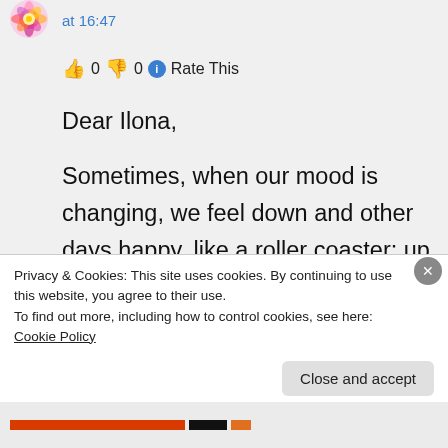[Figure (illustration): Colorful flower/mandala avatar icon in top left area]
at 16:47
👍 0 👎 0 ℹ Rate This
Dear Ilona,

Sometimes, when our mood is changing, we feel down and other days happy, like a roller coaster: up and down with our feelings, then we have things in us which we
Privacy & Cookies: This site uses cookies. By continuing to use this website, you agree to their use.
To find out more, including how to control cookies, see here: Cookie Policy
Close and accept